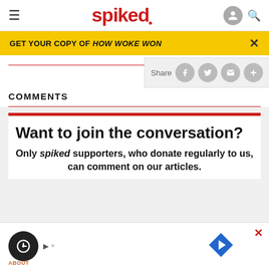spiked
GET YOUR COPY OF HOW WOKE WON
COMMENTS
Want to join the conversation?
Only spiked supporters, who donate regularly to us, can comment on our articles.
[Figure (screenshot): Advertisement banner with circular icon and navigation arrow]
ABOUT